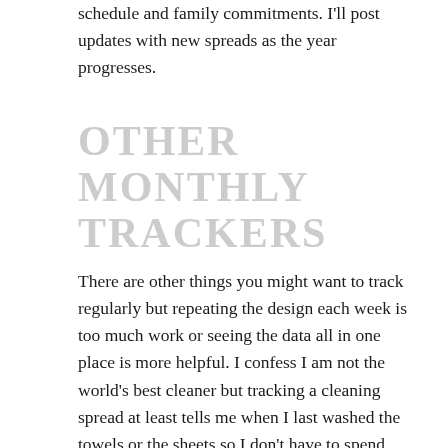schedule and family commitments. I'll post updates with new spreads as the year progresses.
OTHER MONTHLY TRACKERS
There are other things you might want to track regularly but repeating the design each week is too much work or seeing the data all in one place is more helpful. I confess I am not the world's best cleaner but tracking a cleaning spread at least tells me when I last washed the towels or the sheets so I don't have to spend energy thinking about that. For the last few years I have also tracked mood to go along with my goals on mindset. This one is difficult to track. I have tried daily, weekly and monthly. I have settled in a mo they tracker